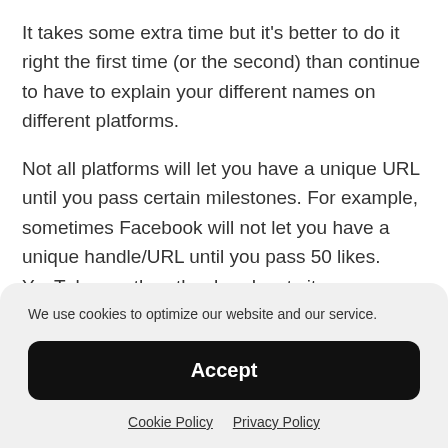It takes some extra time but it's better to do it right the first time (or the second) than continue to have to explain your different names on different platforms.
Not all platforms will let you have a unique URL until you pass certain milestones. For example, sometimes Facebook will not let you have a unique handle/URL until you pass 50 likes. YouTube, on the other hand, sets its requirement to 100 Subscribers.
We use cookies to optimize our website and our service.
Accept
Cookie Policy  Privacy Policy